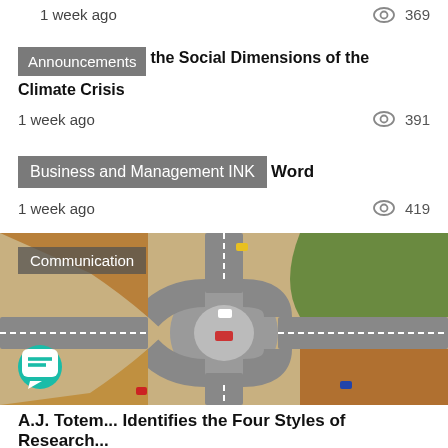1 week ago
369
Announcements
the Social Dimensions of the Climate Crisis
1 week ago
391
Business and Management INK
Word
1 week ago
419
[Figure (photo): Aerial view of a roundabout intersection with cars]
Communication
A.J. Totem... Identifies the Four Styles of Research...